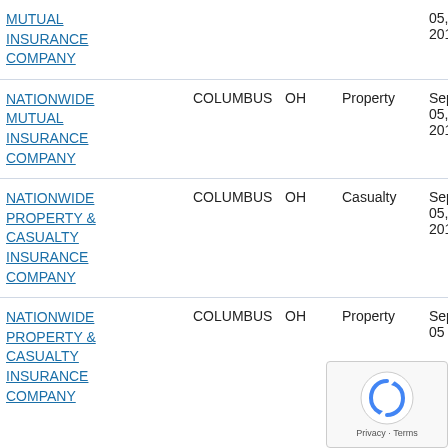| Company | City | State | Type | Date |
| --- | --- | --- | --- | --- |
| MUTUAL INSURANCE COMPANY |  |  |  | 05, 2019 |
| NATIONWIDE MUTUAL INSURANCE COMPANY | COLUMBUS | OH | Property | Sep 05, 2019 |
| NATIONWIDE PROPERTY & CASUALTY INSURANCE COMPANY | COLUMBUS | OH | Casualty | Sep 05, 2019 |
| NATIONWIDE PROPERTY & CASUALTY INSURANCE COMPANY | COLUMBUS | OH | Property | Sep 05, |